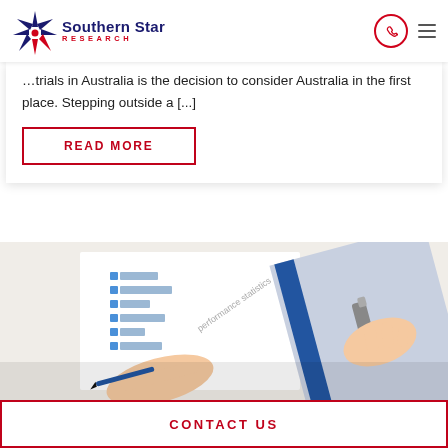[Figure (logo): Southern Star Research logo with star graphic and company name]
...trials in Australia is the decision to consider Australia in the first place. Stepping outside a [...]
READ MORE
[Figure (photo): Photo of hands reviewing a chart/report document with bar graphs, one hand pointing with a pen, another hand with a binder]
CONTACT US